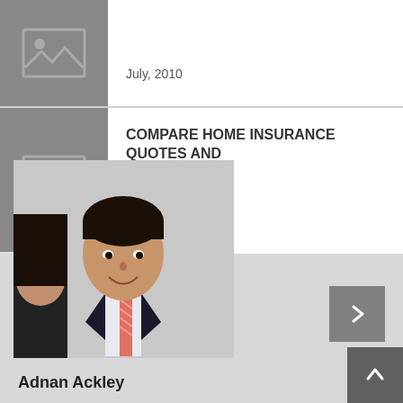[Figure (photo): Thumbnail placeholder image (gray box with image icon) for first article card, partially visible at top]
July, 2010
[Figure (photo): Thumbnail placeholder image (gray box with image icon) for second article card]
COMPARE HOME INSURANCE QUOTES AND
July, 2010
[Figure (other): Right navigation arrow button (dark gray square with white chevron pointing right)]
[Figure (photo): Photo of Adnan Ackley, a man in a dark business suit with a striped tie, smiling]
Adnan Ackley
[Figure (other): Up navigation arrow button (dark gray square with white chevron pointing up)]